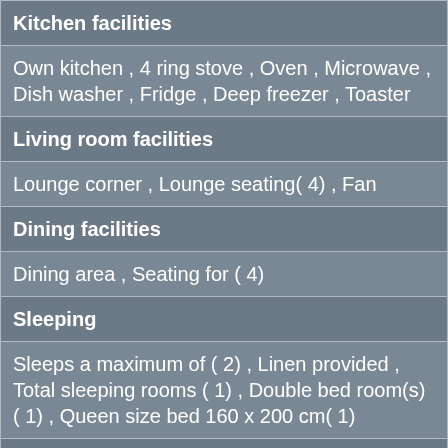Kitchen facilities
Own kitchen , 4 ring stove , Oven , Microwave , Dish washer , Fridge , Deep freezer , Toaster
Living room facilities
Lounge corner , Lounge seating( 4) , Fan
Dining facilities
Dining area , Seating for ( 4)
Sleeping
Sleeps a maximum of ( 2) , Linen provided , Total sleeping rooms ( 1) , Double bed room(s) ( 1) , Queen size bed 160 x 200 cm( 1)
Bathrooms
En suite bathroom( 1) , Shower(s) ( 1) , Separate WC(s) ( 1) , Towels provided
Communications and multimedia facilities